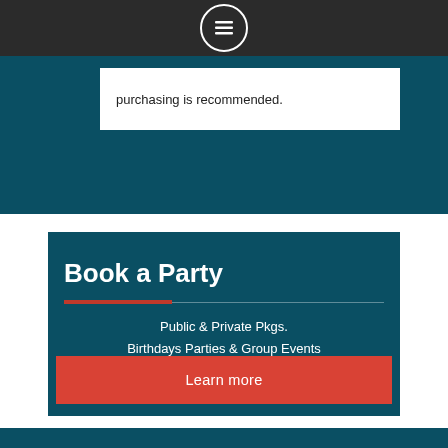[Figure (other): Navigation menu icon (hamburger list icon inside white circle) on dark top bar]
purchasing is recommended.
Book a Party
Public & Private Pkgs.
Birthdays Parties & Group Events
Learn more
Special Events